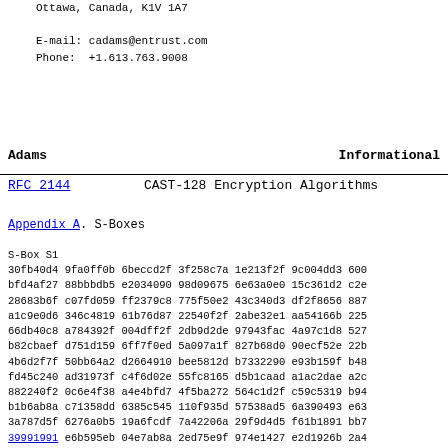Ottawa, Canada, K1V 1A7

E-mail: cadams@entrust.com
Phone:  +1.613.763.9008
Adams                                           Informational
RFC 2144                  CAST-128 Encryption Algorithms
Appendix A. S-Boxes
S-Box S1
30fb40d4 9fa0ff0b 6beccd2f 3f258c7a 1e213f2f 9c004dd3 600
bfd4af27 88bbbdb5 e2034090 98d09675 6e63a0e0 15c361d2 c2e
28683b6f c07fd059 ff2379c8 775f50e2 43c340d3 df2f8656 887
a1c9e0d6 346c4819 61b76d87 22540f2f 2abe32e1 aa54166b 225
66db40c8 a784392f 004dff2f 2db9d2de 97943fac 4a97c1d8 527
b82cbaef d751d159 6ff7f0ed 5a097a1f 827b68d0 90ecf52e 22b
4b6d2f7f 50bb64a2 d2664910 bee5812d b7332290 e93b159f b48
fd45c240 ad31973f c4f6d02e 55fc8165 d5b1caad a1ac2dae a2c
882240f2 0c6e4f38 a4e4bfd7 4f5ba272 564c1d2f c59c5319 b94
b1b6ab8a c71358dd 6385c545 110f935d 57538ad5 6a390493 e63
3a787d5f 6276a0b5 19a6fcdf 7a42206a 29f9d4d5 f61b1891 bb7
39991991 e6b595eb 04e7ab8a 2ed75e9f 974e1427 e2d1926b 2a4